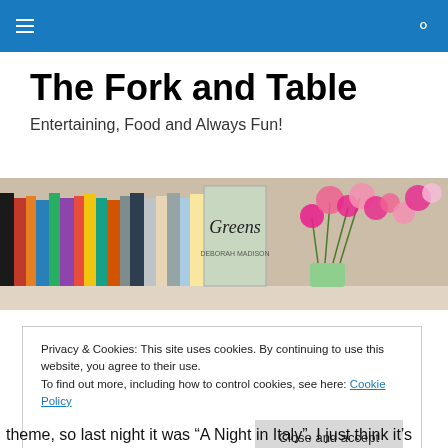Navigation menu and search icon
The Fork and Table
Entertaining, Food and Always Fun!
[Figure (photo): A shelf of colorful cookbooks with a prominent 'Greens' book spine and pink flowers in a vase to the right.]
Privacy & Cookies: This site uses cookies. By continuing to use this website, you agree to their use.
To find out more, including how to control cookies, see here: Cookie Policy
[Close and accept button]
theme, so last night it was “A Night in Italy”. I just think it’s